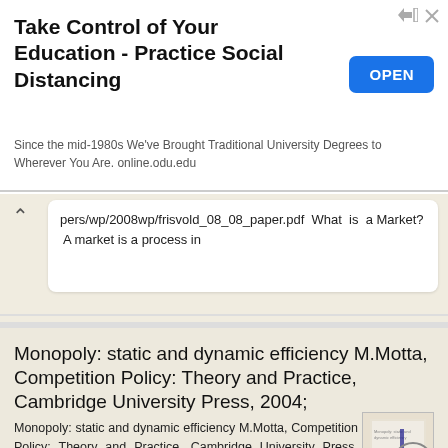[Figure (screenshot): Advertisement banner: 'Take Control of Your Education - Practice Social Distancing' with OPEN button and ad icon]
pers/wp/2008wp/frisvold_08_08_paper.pdf What is a Market? A market is a process in
More information →
Monopoly: static and dynamic efficiency M.Motta, Competition Policy: Theory and Practice, Cambridge University Press, 2004;
Monopoly: static and dynamic efficiency M.Motta, Competition Policy: Theory and Practice, Cambridge University Press, 2004; ch. 2 Economics of Competition and Regulation 2015 Maria Rosa Battaggion Perfect
More information →